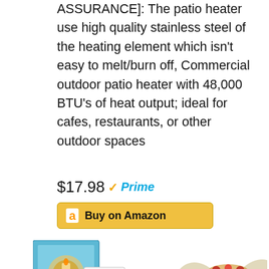ASSURANCE]: The patio heater use high quality stainless steel of the heating element which isn't easy to melt/burn off, Commercial outdoor patio heater with 48,000 BTU's of heat output; ideal for cafes, restaurants, or other outdoor spaces
$17.98 ✓Prime
Buy on Amazon
[Figure (photo): Product images showing a box with candle-related imagery on the left and angel/cherub decorative figurines with floral elements on the right]